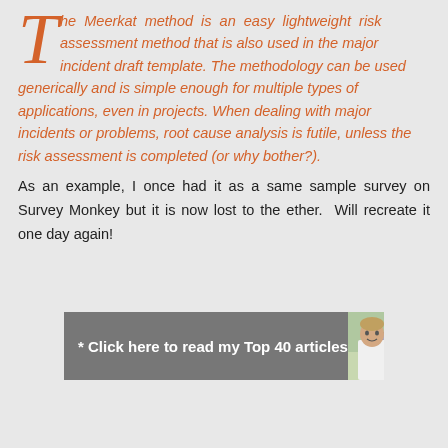The Meerkat method is an easy lightweight risk assessment method that is also used in the major incident draft template. The methodology can be used generically and is simple enough for multiple types of applications, even in projects. When dealing with major incidents or problems, root cause analysis is futile, unless the risk assessment is completed (or why bother?). As an example, I once had it as a same sample survey on Survey Monkey but it is now lost to the ether. Will recreate it one day again!
[Figure (infographic): Gray banner with white bold text '* Click here to read my Top 40 articles' and a photo of a man on the right side]